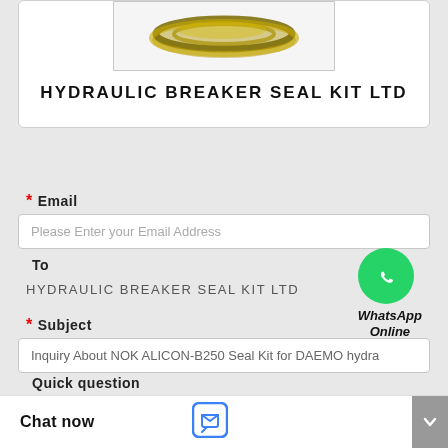[Figure (photo): Product image of hydraulic seal rings/gaskets, metallic gold/olive colored, shown at top of card]
HYDRAULIC BREAKER SEAL KIT LTD
* Email
Please Enter your Email Address
To
HYDRAULIC BREAKER SEAL KIT LTD
[Figure (logo): WhatsApp green circle icon with phone handset, labeled WhatsApp Online]
* Subject
Inquiry About NOK ALICON-B250 Seal Kit for DAEMO hydra...
Quick question
Chat now